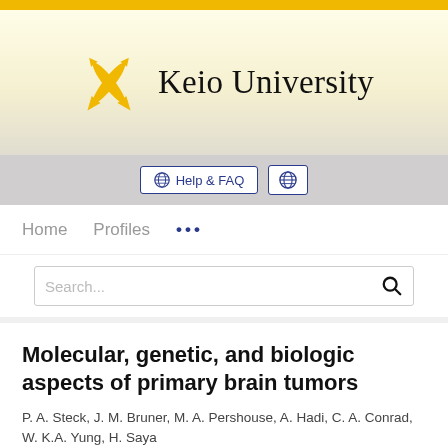[Figure (logo): Keio University logo with crossed pen nibs in gold/yellow and text 'Keio University' in serif font]
Help & FAQ
Home   Profiles   ...
Search...
Molecular, genetic, and biologic aspects of primary brain tumors
P. A. Steck, J. M. Bruner, M. A. Pershouse, A. Hadi, C. A. Conrad, W. K.A. Yung, H. Saya